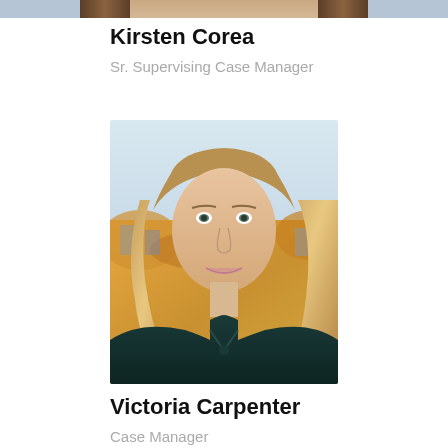[Figure (photo): Partial photo of Kirsten Corea, cropped at top of page]
Kirsten Corea
Sr. Supervising Case Manager
[Figure (photo): Professional headshot of Victoria Carpenter, a young woman with long blonde wavy hair, wearing a dark teal blouse, with an autumn outdoor background]
Victoria Carpenter
Case Manager